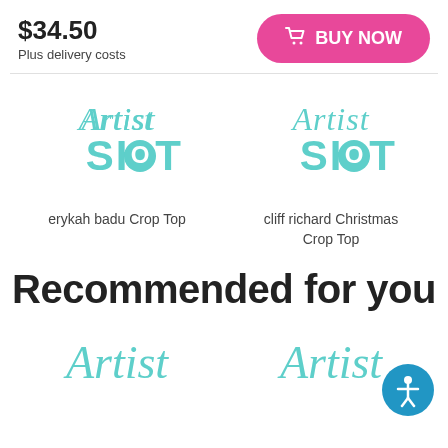$34.50
Plus delivery costs
BUY NOW
[Figure (logo): Artist Shot logo - teal script Artist above bold SHOT text]
erykah badu Crop Top
[Figure (logo): Artist Shot logo - teal script Artist above bold SHOT text]
cliff richard Christmas Crop Top
Recommended for you
[Figure (logo): Artist Shot logo partial - teal script Artist text]
[Figure (logo): Artist Shot logo partial - teal script Artist text]